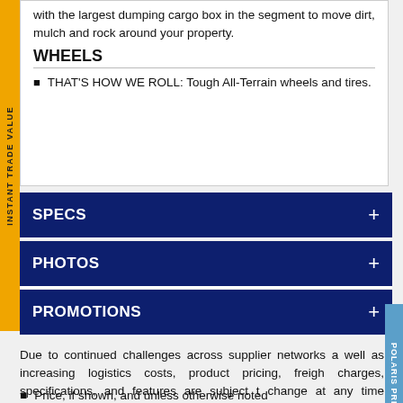with the largest dumping cargo box in the segment to move dirt, mulch and rock around your property.
WHEELS
THAT'S HOW WE ROLL: Tough All-Terrain wheels and tires.
SPECS
PHOTOS
PROMOTIONS
Due to continued challenges across supplier networks as well as increasing logistics costs, product pricing, freight charges, specifications, and features are subject to change at any time without prior notice. Please confirm all information with your local dealership.
Price, if shown, and unless otherwise noted